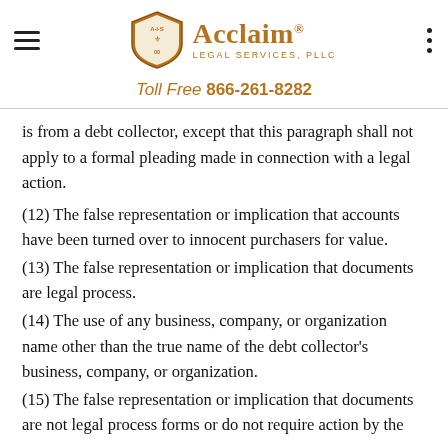Acclaim Legal Services, PLLC — Toll Free 866-261-8282
is from a debt collector, except that this paragraph shall not apply to a formal pleading made in connection with a legal action.
(12) The false representation or implication that accounts have been turned over to innocent purchasers for value.
(13) The false representation or implication that documents are legal process.
(14) The use of any business, company, or organization name other than the true name of the debt collector's business, company, or organization.
(15) The false representation or implication that documents are not legal process forms or do not require action by the consumer.
(16) The false representation or implication that a debt collector